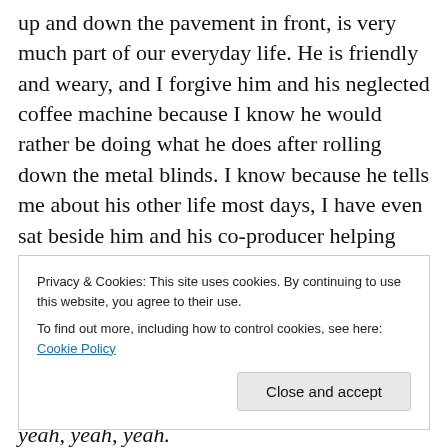up and down the pavement in front, is very much part of our everyday life. He is friendly and weary, and I forgive him and his neglected coffee machine because I know he would rather be doing what he does after rolling down the metal blinds. I know because he tells me about his other life most days, I have even sat beside him and his co-producer helping them check the English lyrics to a new dance track. It was a surreal moment, sitting in a basement recording studio in Testaccio listening to the young winner of an Italian TV show I have never seen, record vocals. Dreams be shattered like a glass, let's fly in
Privacy & Cookies: This site uses cookies. By continuing to use this website, you agree to their use.
To find out more, including how to control cookies, see here: Cookie Policy
Close and accept
yeah, yeah, yeah.